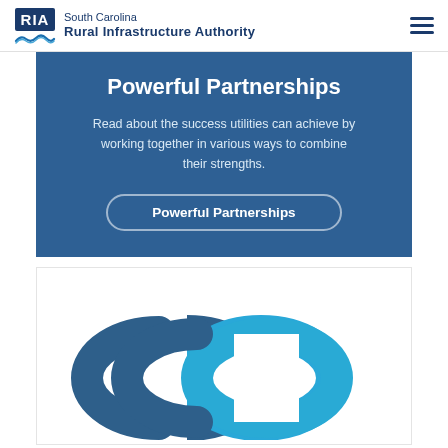RIA South Carolina Rural Infrastructure Authority
Powerful Partnerships
Read about the success utilities can achieve by working together in various ways to combine their strengths.
Powerful Partnerships
[Figure (illustration): Chain link icon with two interlocked rings — one dark blue and one light blue — representing partnership connections.]